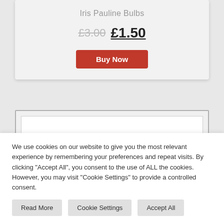Iris Pauline Bulbs
£3.00 £1.50
Buy Now
[Figure (screenshot): White card placeholder / second product card with grey border]
We use cookies on our website to give you the most relevant experience by remembering your preferences and repeat visits. By clicking "Accept All", you consent to the use of ALL the cookies. However, you may visit "Cookie Settings" to provide a controlled consent.
Read More
Cookie Settings
Accept All